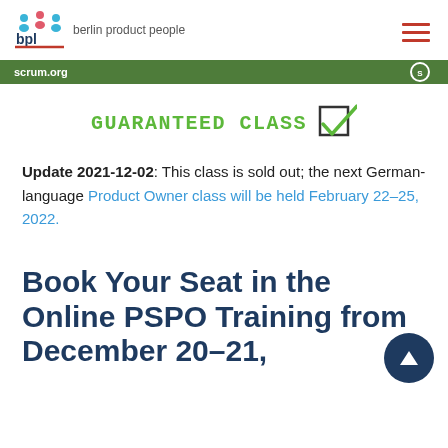berlin product people
[Figure (screenshot): Green banner strip with scrum.org text on left and circular logo on right]
[Figure (illustration): GUARANTEED CLASS text in green monospace font with a checkbox checkmark icon]
Update 2021-12-02: This class is sold out; the next German-language Product Owner class will be held February 22–25, 2022.
Book Your Seat in the Online PSPO Training from December 20–21,